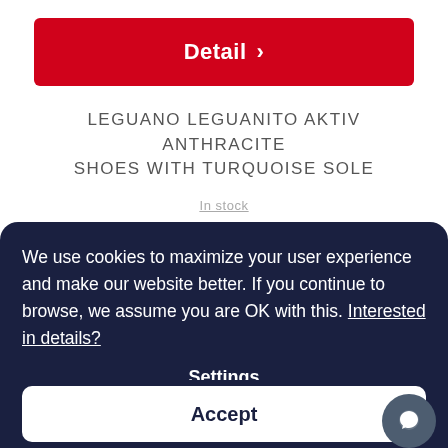Detail >
LEGUANO LEGUANITO AKTIV ANTHRACITE SHOES WITH TURQUOISE SOLE
In stock
We use cookies to maximize your user experience and make our website better. If you continue to browse, we assume you are OK with this. Interested in details?
Settings
Accept